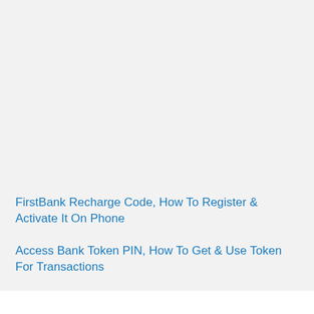FirstBank Recharge Code, How To Register & Activate It On Phone
Access Bank Token PIN, How To Get & Use Token For Transactions